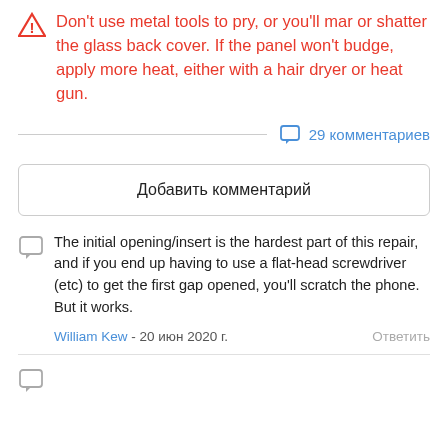Don't use metal tools to pry, or you'll mar or shatter the glass back cover. If the panel won't budge, apply more heat, either with a hair dryer or heat gun.
29 комментариев
Добавить комментарий
The initial opening/insert is the hardest part of this repair, and if you end up having to use a flat-head screwdriver (etc) to get the first gap opened, you'll scratch the phone. But it works.
William Kew - 20 июн 2020 г.   Ответить